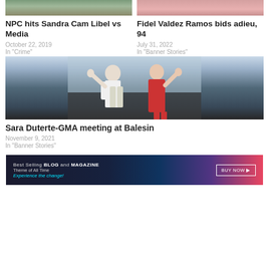[Figure (photo): Top left article image - outdoor scene]
[Figure (photo): Top right article image - person with pink/red tones]
NPC hits Sandra Cam Libel vs Media
October 22, 2019
In "Crime"
Fidel Valdez Ramos bids adieu, 94
July 31, 2022
In "Banner Stories"
[Figure (photo): Two people waving - Sara Duterte and GMA at Balesin]
Sara Duterte-GMA meeting at Balesin
November 9, 2021
In "Banner Stories"
[Figure (infographic): Advertisement banner: Best Selling BLOG and MAGAZINE Theme of All Time - Experience the change! BUY NOW button]